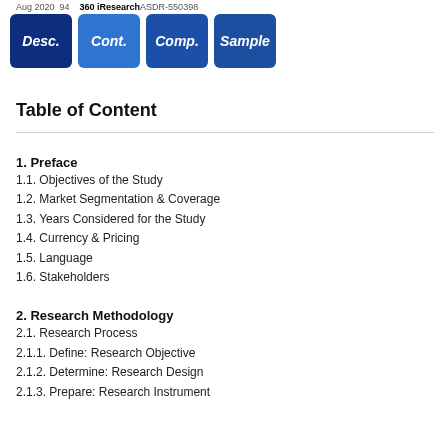Aug 2020  94      360 iResearch ASDR-550398
Table of Content
1. Preface
1.1. Objectives of the Study
1.2. Market Segmentation & Coverage
1.3. Years Considered for the Study
1.4. Currency & Pricing
1.5. Language
1.6. Stakeholders
2. Research Methodology
2.1. Research Process
2.1.1. Define: Research Objective
2.1.2. Determine: Research Design
2.1.3. Prepare: Research Instrument